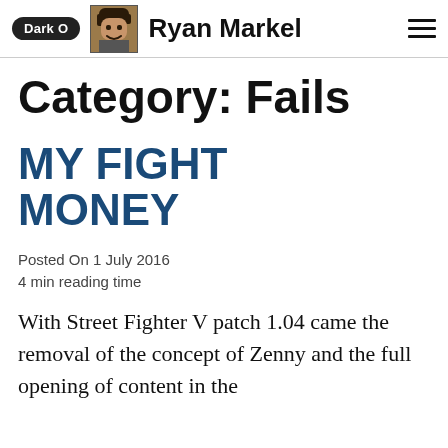Dark O  Ryan Markel
Category: Fails
MY FIGHT MONEY
Posted On 1 July 2016
4 min reading time
With Street Fighter V patch 1.04 came the removal of the concept of Zenny and the full opening of content in the